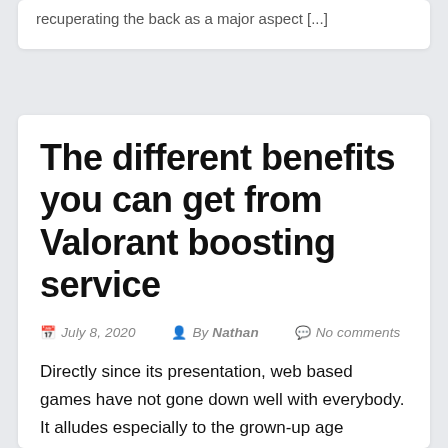recuperating the back as a major aspect [...]
The different benefits you can get from Valorant boosting service
July 8, 2020   By Nathan   No comments
Directly since its presentation, web based games have not gone down well with everybody. It alludes especially to the grown-up age gatherings. Guardians frequently gripe on how their kids sit stuck to PC and TV screens playing computer games when they ought to have really run and played outside, or...